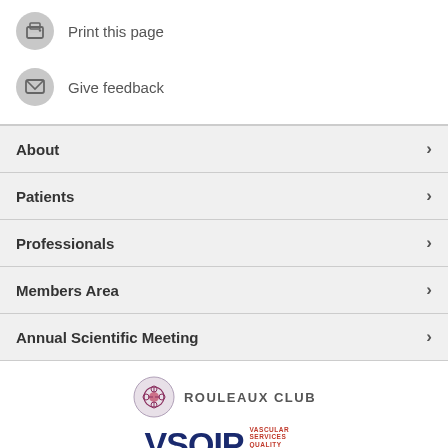Print this page
Give feedback
About
Patients
Professionals
Members Area
Annual Scientific Meeting
[Figure (logo): Rouleaux Club logo — circular emblem with red/purple network pattern and text 'ROULEAUX CLUB']
[Figure (logo): VSQIP logo — large dark blue letters VSQIP with red text 'Vascular Services Quality Improvement Programme']
[Figure (logo): Circulation Foundation logo — circular emblem with human figure and vascular system, text 'CIRCULATION FOUNDATION']